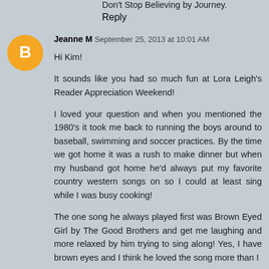Don't Stop Believing by Journey.
Reply
Jeanne M   September 25, 2013 at 10:01 AM
Hi Kim!
It sounds like you had so much fun at Lora Leigh's Reader Appreciation Weekend!
I loved your question and when you mentioned the 1980's it took me back to running the boys around to baseball, swimming and soccer practices. By the time we got home it was a rush to make dinner but when my husband got home he'd always put my favorite country western songs on so I could at least sing while I was busy cooking!
The one song he always played first was Brown Eyed Girl by The Good Brothers and get me laughing and more relaxed by him trying to sing along! Yes, I have brown eyes and I think he loved the song more than I